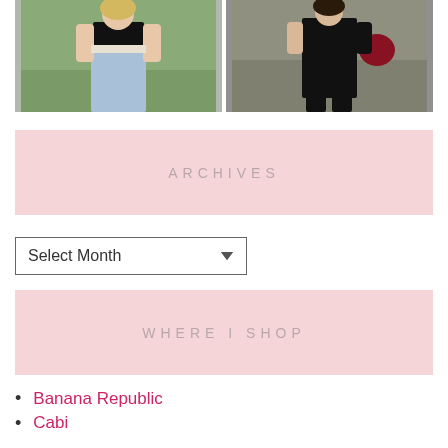[Figure (photo): Two fashion photos side by side: left shows a person in a black crop top and light blue jeans outdoors with greenery; right shows a person in a black outfit with tall black boots on a path.]
ARCHIVES
Select Month
WHERE I SHOP
Banana Republic
Cabi
DSW
Express
Francesca's
H&M